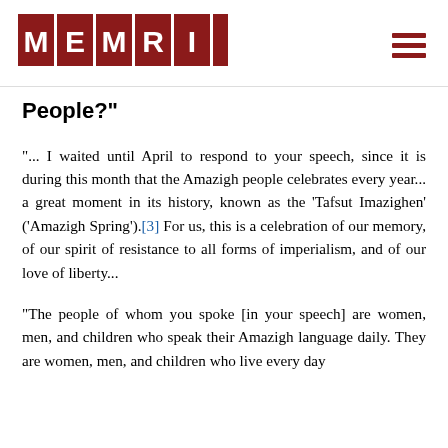[Figure (logo): MEMRI logo — red tiles spelling M E M R I with Arabic text on right tile]
People?"
"... I waited until April to respond to your speech, since it is during this month that the Amazigh people celebrates every year... a great moment in its history, known as the 'Tafsut Imazighen' ('Amazigh Spring').[3] For us, this is a celebration of our memory, of our spirit of resistance to all forms of imperialism, and of our love of liberty...
"The people of whom you spoke [in your speech] are women, men, and children who speak their Amazigh language daily. They are women, men, and children who live every day